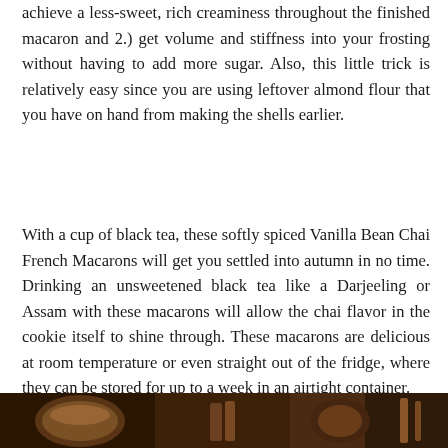achieve a less-sweet, rich creaminess throughout the finished macaron and 2.) get volume and stiffness into your frosting without having to add more sugar. Also, this little trick is relatively easy since you are using leftover almond flour that you have on hand from making the shells earlier.
With a cup of black tea, these softly spiced Vanilla Bean Chai French Macarons will get you settled into autumn in no time. Drinking an unsweetened black tea like a Darjeeling or Assam with these macarons will allow the chai flavor in the cookie itself to shine through. These macarons are delicious at room temperature or even straight out of the fridge, where they can be stored for up to a week in an airtight container.
[Figure (photo): Bottom strip of a food photograph showing macarons, partially visible at the bottom of the page]